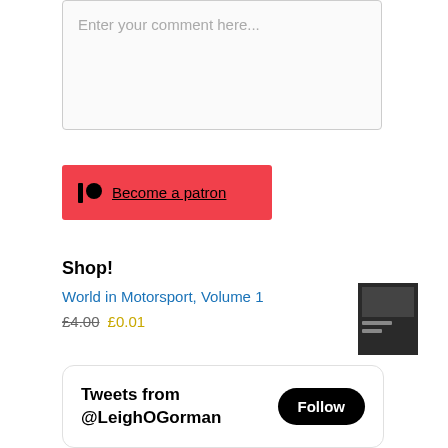[Figure (screenshot): Comment input text box with placeholder text 'Enter your comment here...']
[Figure (screenshot): Patreon red button with Patreon logo icon and underlined text 'Become a patron']
Shop!
World in Motorsport, Volume 1
£4.00 £0.01
[Figure (photo): Small product thumbnail image for World in Motorsport, Volume 1]
[Figure (screenshot): Twitter/X widget showing 'Tweets from @LeighOGorman' with a Follow button]